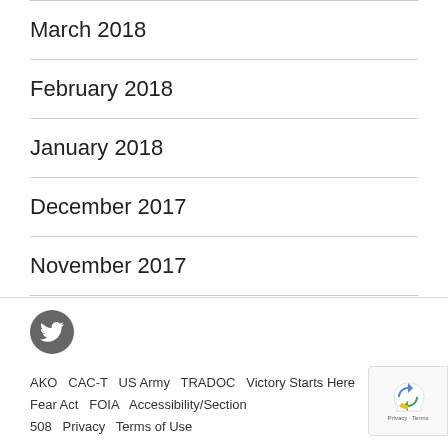March 2018
February 2018
January 2018
December 2017
November 2017
[Figure (logo): Twitter bird icon in a dark grey circle]
AKO  CAC-T  US Army  TRADOC  Victory Starts Here  Fear Act  FOIA  Accessibility/Section 508  Privacy  Terms of Use